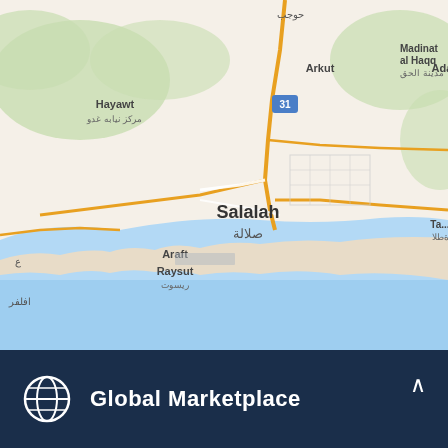[Figure (map): Google Maps screenshot showing Salalah, Oman and surrounding areas including Hayawt, Arkut, Madinat al Haqq, Araft, Raysut, and the Arabian Sea coastline. Road 31 is visible. Labels in both English and Arabic.]
Global Marketplace